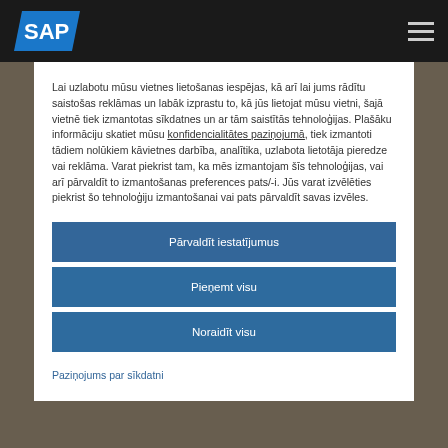SAP (logo) | navigation menu
Lai uzlabotu mūsu vietnes lietošanas iespējas, kā arī lai jums rādītu saistošas reklāmas un labāk izprastu to, kā jūs lietojat mūsu vietni, šajā vietnē tiek izmantotas sīkdatnes un ar tām saistītās tehnoloģijas. Plašāku informāciju skatiet mūsu konfidencialitātes paziņojumā, tiek izmantoti tādiem nolūkiem kāvietnes darbība, analītika, uzlabota lietotāja pieredze vai reklāma. Varat piekrist tam, ka mēs izmantojam šīs tehnoloģijas, vai arī pārvaldīt to izmantošanas preferences pats/-i. Jūs varat izvēlēties piekrist šo tehnoloģiju izmantošanai vai pats pārvaldīt savas izvēles.
Pārvaldīt iestatījumus
Pieņemt visu
Noraidīt visu
Paziņojums par sīkdatni